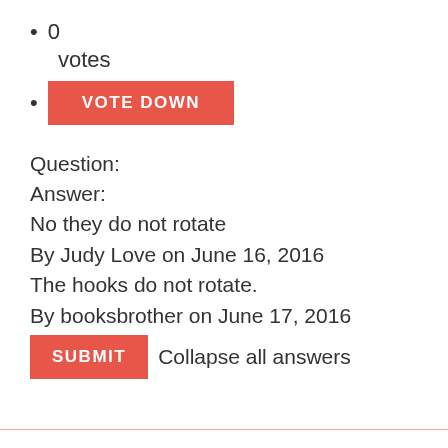0
votes
VOTE DOWN
Question:
Answer:
No they do not rotate
By Judy Love on June 16, 2016
The hooks do not rotate.
By booksbrother on June 17, 2016
SUBMIT  Collapse all answers